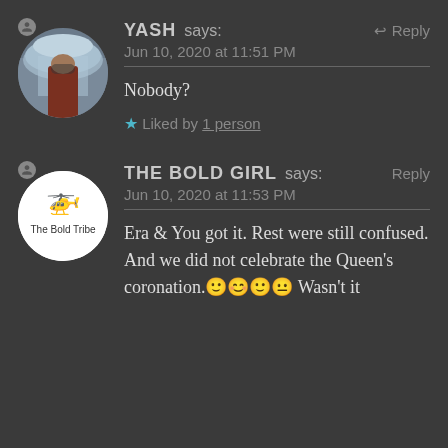YASH says: Jun 10, 2020 at 11:51 PM
Nobody?
Liked by 1 person
THE BOLD GIRL says: Reply Jun 10, 2020 at 11:53 PM
Era & You got it. Rest were still confused. And we did not celebrate the Queen's coronation.🙂😊🙂😐 Wasn't it